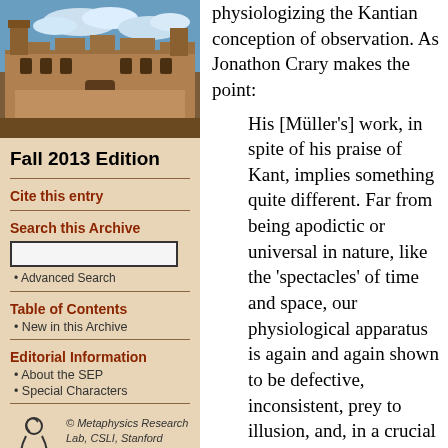[Figure (photo): Photograph of a historic university building with Gothic architecture under a blue sky with clouds]
Fall 2013 Edition
Cite this entry
Search this Archive
Advanced Search
Table of Contents
New in this Archive
Editorial Information
About the SEP
Special Characters
[Figure (logo): Metaphysics Research Lab logo — stylized figure]
© Metaphysics Research Lab, CSLI, Stanford University
physiologizing the Kantian conception of observation. As Jonathon Crary makes the point:
His [Müller's] work, in spite of his praise of Kant, implies something quite different. Far from being apodictic or universal in nature, like the 'spectacles' of time and space, our physiological apparatus is again and again shown to be defective, inconsistent, prey to illusion, and, in a crucial manner, susceptible to external procedures of manipulation and stimulation that have the